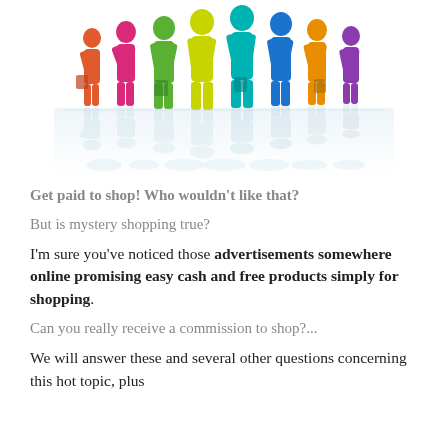[Figure (illustration): Colorful silhouettes of a crowd of people shopping, with reflections below them on a white background.]
Get paid to shop! Who wouldn't like that?
But is mystery shopping true?
I'm sure you've noticed those advertisements somewhere online promising easy cash and free products simply for shopping.
Can you really receive a commission to shop?...
We will answer these and several other questions concerning this hot topic, plus